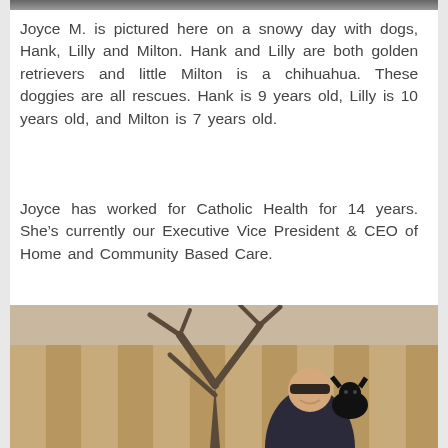[Figure (photo): Partial top edge of a photo (cropped at top of page)]
Joyce M. is pictured here on a snowy day with dogs, Hank, Lilly and Milton. Hank and Lilly are both golden retrievers and little Milton is a chihuahua. These doggies are all rescues. Hank is 9 years old, Lilly is 10 years old, and Milton is 7 years old.
Joyce has worked for Catholic Health for 14 years. She's currently our Executive Vice President & CEO of Home and Community Based Care.
[Figure (photo): Photo of a woman smiling, wearing sunglasses and holding a small black dog, standing in front of a wooden fence and bare tree]